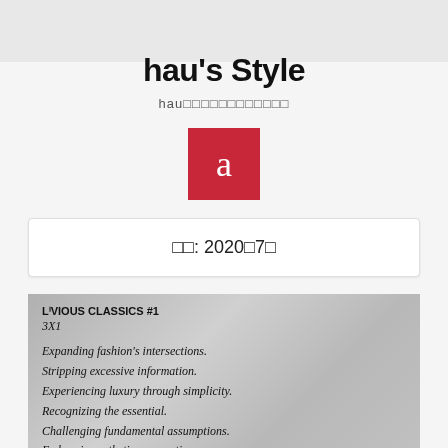[Figure (illustration): Hexagonal mosaic tile pattern in red, black, grey, and white colors forming the page header background]
hau's Style
hau□□□□□□□□□□□□
[Figure (illustration): Red square avatar with white lowercase letter 'a' in serif font]
□□: 2020□7□
[Figure (photo): Photo of plastic packaging with printed text about LUVIOUS CLASSICS #1, 3X1 brand, with fashion philosophy statements in italic serif font]